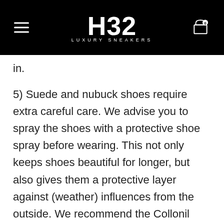H32 LUXURY SNEAKERS
in.
5) Suede and nubuck shoes require extra careful care. We advise you to spray the shoes with a protective shoe spray before wearing. This not only keeps shoes beautiful for longer, but also gives them a protective layer against (weather) influences from the outside. We recommend the Collonil brand.
6) If you wear it frequently, it is best to spray your shoes regularly. First brush the shoes with a special